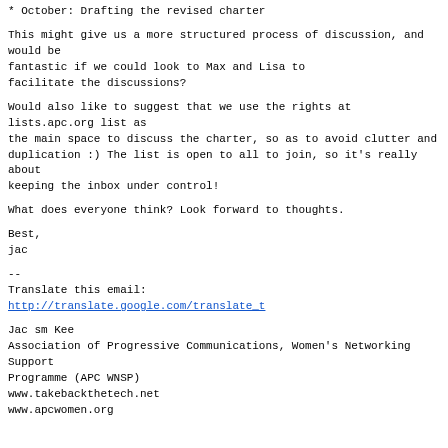* October: Drafting the revised charter
This might give us a more structured process of discussion, and would be fantastic if we could look to Max and Lisa to facilitate the discussions?
Would also like to suggest that we use the rights at lists.apc.org list as the main space to discuss the charter, so as to avoid clutter and duplication :) The list is open to all to join, so it's really about keeping the inbox under control!
What does everyone think? Look forward to thoughts.
Best,
jac
--
Translate this email:
http://translate.google.com/translate_t
Jac sm Kee
Association of Progressive Communications, Women's Networking Support
Programme (APC WNSP)
www.takebackthetech.net
www.apcwomen.org